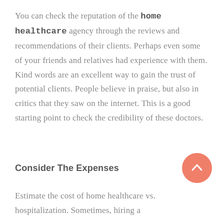You can check the reputation of the home healthcare agency through the reviews and recommendations of their clients. Perhaps even some of your friends and relatives had experience with them. Kind words are an excellent way to gain the trust of potential clients. People believe in praise, but also in critics that they saw on the internet. This is a good starting point to check the credibility of these doctors.
Consider The Expenses
Estimate the cost of home healthcare vs. hospitalization. Sometimes, hiring a